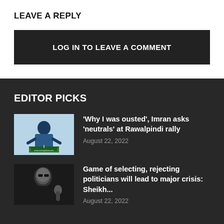LEAVE A REPLY
LOG IN TO LEAVE A COMMENT
EDITOR PICKS
[Figure (photo): Man in blue jacket speaking at a podium at a Rawalpindi rally, with a green banner visible below]
'Why I was ousted', Imran asks 'neutrals' at Rawalpindi rally
August 22, 2022
[Figure (photo): Man in dark jacket gesturing with hand raised, dark background]
Game of selecting, rejecting politicians will lead to major crisis: Sheikh...
August 22, 2022